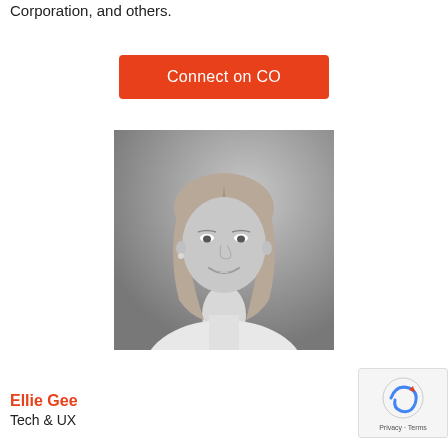Corporation, and others.
Connect on CO
[Figure (photo): Black and white professional headshot of a young woman with medium-length straight hair, smiling, wearing a white blouse]
Ellie Gee
Tech & UX